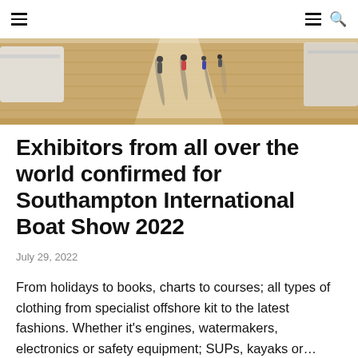≡  ≡ 🔍
[Figure (photo): Aerial or low-angle view of a boat show marina boardwalk with people walking between boats on a sunny day, casting long shadows on the wooden dock.]
Exhibitors from all over the world confirmed for Southampton International Boat Show 2022
July 29, 2022
From holidays to books, charts to courses; all types of clothing from specialist offshore kit to the latest fashions. Whether it's engines, watermakers, electronics or safety equipment; SUPs, kayaks or…